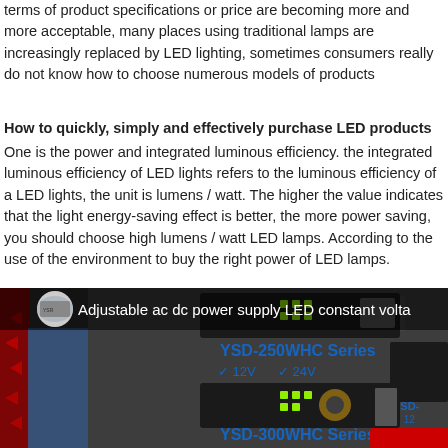terms of product specifications or price are becoming more and more acceptable, many places using traditional lamps are increasingly replaced by LED lighting, sometimes consumers really do not know how to choose numerous models of products
How to quickly, simply and effectively purchase LED products
One is the power and integrated luminous efficiency. the integrated luminous efficiency of LED lights refers to the luminous efficiency of a LED lights, the unit is lumens / watt. The higher the value indicates that the light energy-saving effect is better, the more power saving, you should choose high lumens / watt LED lamps. According to the use of the environment to buy the right power of LED lamps.
[Figure (screenshot): Video thumbnail showing adjustable AC DC power supply LED constant voltage products including YSD-250WHC Series (12V, 24V) and YSD-300WHC Series on display boards with a presenter in background. Video title overlay reads 'Adjustable ac dc power supply LED constant volta...']